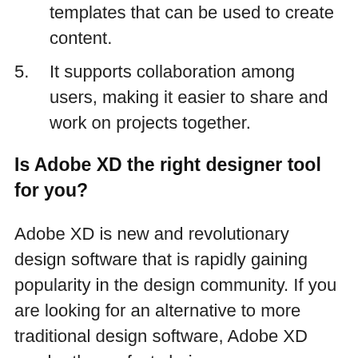templates that can be used to create content.
5. It supports collaboration among users, making it easier to share and work on projects together.
Is Adobe XD the right designer tool for you?
Adobe XD is new and revolutionary design software that is rapidly gaining popularity in the design community. If you are looking for an alternative to more traditional design software, Adobe XD maybe the perfect choice